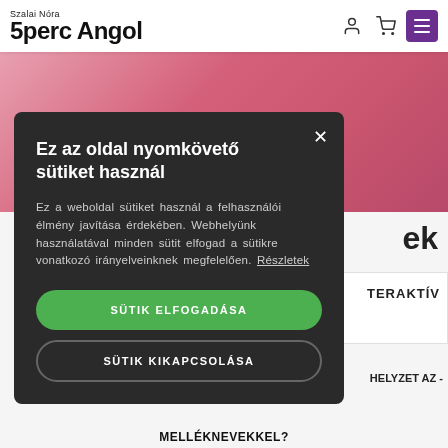Szalai Nóra 5perc Angol
[Figure (screenshot): Pink background banner with Feliratkozás button]
Ez az oldal nyomkövető sütiket használ
Ez a weboldal sütiket használ a felhasználói élmény javítása érdekében. Webhelyünk használatával minden sütit elfogad a sütikre vonatkozó irányelveinknek megfelelően. Részletek
SÜTIK ELFOGADÁSA
SÜTIK KIKAPCSOLÁSA